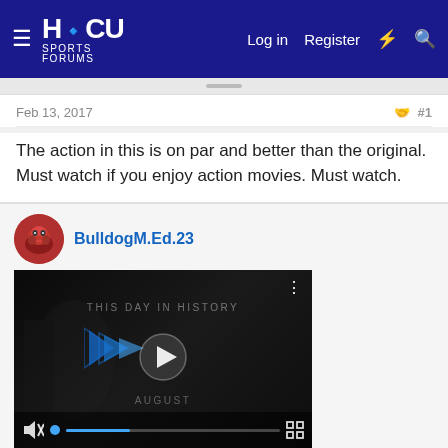HBCU Sports Forums — Log in  Register
Feb 13, 2017  #1
The action in this is on par and better than the original. Must watch if you enjoy action movies. Must watch.
BulldogM.Ed.23
[Figure (screenshot): Embedded video player showing 'THIS DAY IN HISTORY' with AUGUST label, play button, mute button, progress bar, and fullscreen icon. Video has a blue logo/watermark.]
#2
ne. Sounds like my kind what the hype is about.
Olde Hornet
Well-Known Member